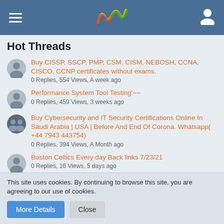Hot Threads — navigation header with logo
Hot Threads
Buy CISSP, SSCP, PMP, CSM, CISM, NEBOSH, CCNA, CISCO, CCNP certificates without exams.
0 Replies, 554 Views, A week ago
Performance System Tool Testing'~~
0 Replies, 459 Views, 3 weeks ago
Buy Cybersecurity and IT Security Certifications Online In Saudi Arabia | USA | Before And End Of Corona. Whatsapp( +44 7943 443754)
0 Replies, 394 Views, A Month ago
Boston Celtics Every day Back links 7/23/21
0 Replies, 16 Views, 5 days ago
This site uses cookies. By continuing to browse this site, you are agreeing to our use of cookies.